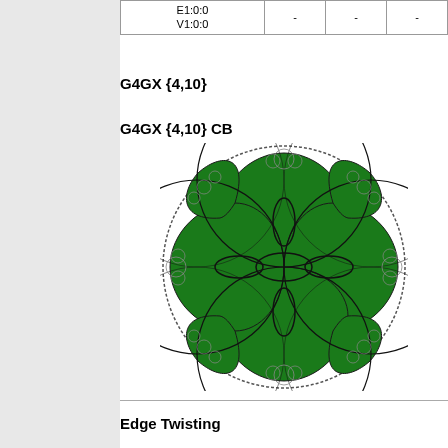|  |  |  |  |
| --- | --- | --- | --- |
| E1:0:0
V1:0:0 | - | - | - |
G4GX {4,10}
G4GX {4,10} CB
[Figure (illustration): Circular geometric diagram labeled G4GX {4,10} CB, showing a hyperbolic tiling pattern with green-filled regions and black circular arc overlays within a circle bordered by a dotted ring.]
Edge Twisting